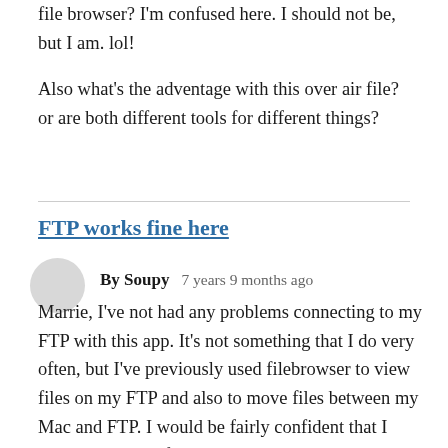file browser? I'm confused here. I should not be, but I am. lol!

Also what's the adventage with this over air file? or are both different tools for different things?
FTP works fine here
By Soupy   7 years 9 months ago
Marrie, I've not had any problems connecting to my FTP with this app. It's not something that I do very often, but I've previously used filebrowser to view files on my FTP and also to move files between my Mac and FTP. I would be fairly confident that I could also move files